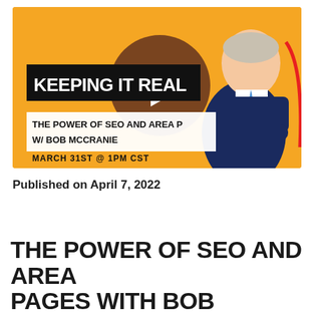[Figure (screenshot): Video thumbnail for 'Keeping It Real' podcast episode. Orange background with a man in a dark suit and blue tie with arms crossed (illustrated/cartoon style with red outline), a large brown circle with a white play button triangle in the center. Black banner with white bold text 'KEEPING IT REAL'. White banner below with text 'THE POWER OF SEO AND AREA P... W/ BOB MCCRANIE'. Bottom left text 'MARCH 31ST @ 1PM CST'.]
Published on April 7, 2022
THE POWER OF SEO AND AREA PAGES WITH BOB MCCRANIE